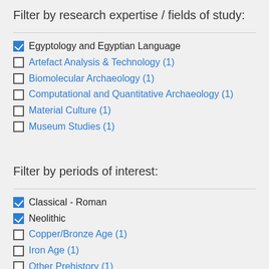Filter by research expertise / fields of study:
Egyptology and Egyptian Language (checked)
Artefact Analysis & Technology (1)
Biomolecular Archaeology (1)
Computational and Quantitative Archaeology (1)
Material Culture (1)
Museum Studies (1)
Filter by periods of interest:
Classical - Roman (checked)
Neolithic (checked)
Copper/Bronze Age (1)
Iron Age (1)
Other Prehistory (1)